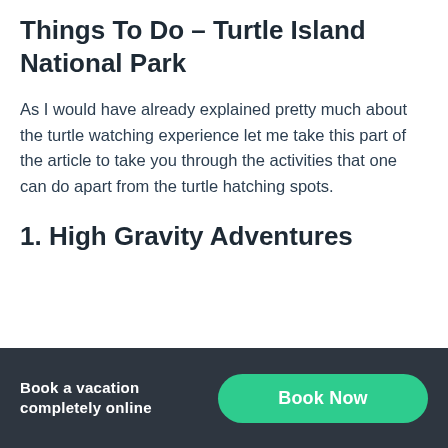Things To Do – Turtle Island National Park
As I would have already explained pretty much about the turtle watching experience let me take this part of the article to take you through the activities that one can do apart from the turtle hatching spots.
1. High Gravity Adventures
Book a vacation completely online | Book Now